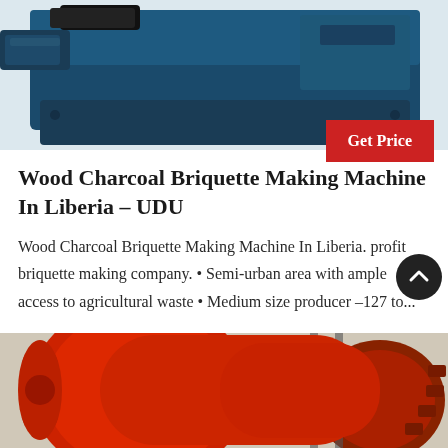[Figure (photo): Blue industrial briquette making machine photographed on white background, top portion visible]
Wood Charcoal Briquette Making Machine In Liberia - UDU
Wood Charcoal Briquette Making Machine In Liberia. profit briquette making company. • Semi-urban area with ample access to agricultural waste • Medium size producer –127 to...
[Figure (photo): Large red industrial ball mill or grinding machine photographed in a factory/workshop setting]